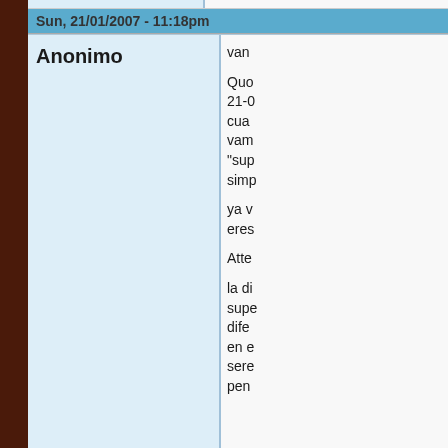Sun, 21/01/2007 - 11:18pm
Anonimo
van

Quo
21-0
cua
vam
"su p
simp

ya v
eres

Atte

la di
supe
dife
en e
sere
pen